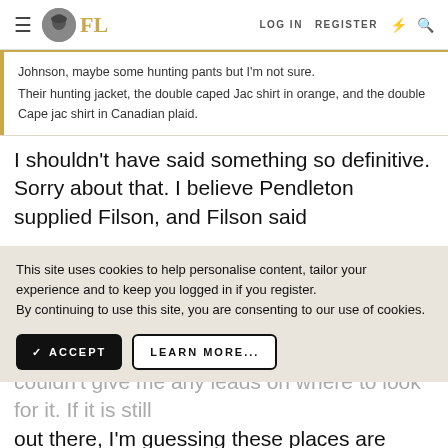FL | LOG IN | REGISTER
Johnson, maybe some hunting pants but I'm not sure. Their hunting jacket, the double caped Jac shirt in orange, and the double Cape jac shirt in Canadian plaid.
I shouldn't have said something so definitive. Sorry about that. I believe Pendleton supplied Filson, and Filson said
This site uses cookies to help personalise content, tailor your experience and to keep you logged in if you register. By continuing to use this site, you are consenting to our use of cookies.
ACCEPT | LEARN MORE...
couldn't give me any leads on where to look for it. If it is still out there, I'm guessing these places are possibly making their own fabrics. I believe there were a couple wool mills in Minnesota and/or Wisconsin, but I didn't look into it once I